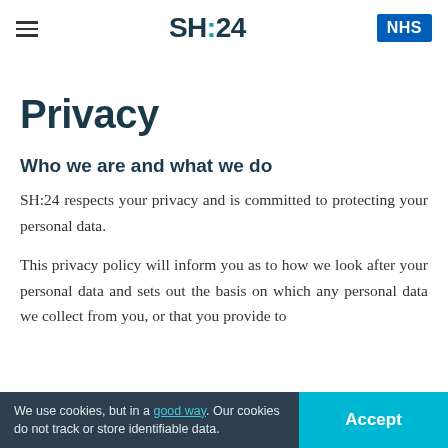SH:24 [NHS logo]
Privacy
Who we are and what we do
SH:24 respects your privacy and is committed to protecting your personal data.
This privacy policy will inform you as to how we look after your personal data and sets out the basis on which any personal data we collect from you, or that you provide to
We use cookies, but in a good way. Our cookies do not track or store identifiable data.